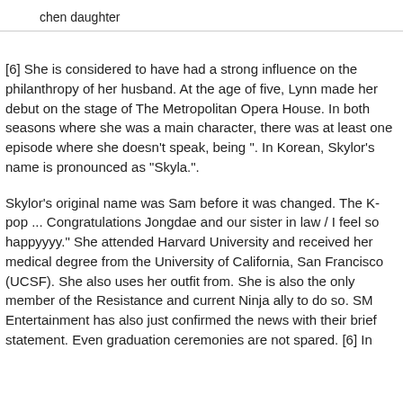chen daughter
[6] She is considered to have had a strong influence on the philanthropy of her husband. At the age of five, Lynn made her debut on the stage of The Metropolitan Opera House. In both seasons where she was a main character, there was at least one episode where she doesn't speak, being ". In Korean, Skylor's name is pronounced as "Skyla.".
Skylor's original name was Sam before it was changed. The K-pop ... Congratulations Jongdae and our sister in law / I feel so happyyyy." She attended Harvard University and received her medical degree from the University of California, San Francisco (UCSF). She also uses her outfit from. She is also the only member of the Resistance and current Ninja ally to do so. SM Entertainment has also just confirmed the news with their brief statement. Even graduation ceremonies are not spared. [6] In